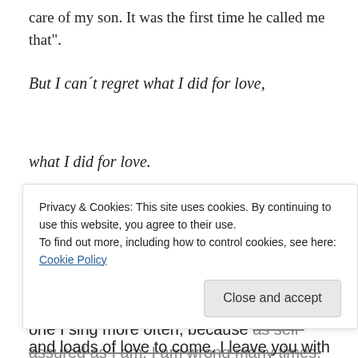care of my son. It was the first time he called me that".
But I can´t regret what I did for love,
what I did for love.
[Figure (other): Advertisements bar with blue-to-purple gradient banner]
I could only finish this post referring to my favorite song in the musical, probably the one I sing more often, because as self-assured as I am, I am wrong many times, and
Privacy & Cookies: This site uses cookies. By continuing to use this website, you agree to their use. To find out more, including how to control cookies, see here: Cookie Policy
and loads of love to come. I leave you with the film's